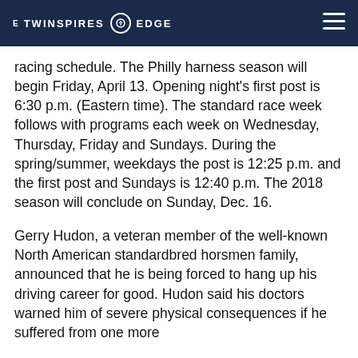THE TWINSPIRES EDGE
racing schedule. The Philly harness season will begin Friday, April 13. Opening night’s first post is 6:30 p.m. (Eastern time). The standard race week follows with programs each week on Wednesday, Thursday, Friday and Sundays. During the spring/summer, weekdays the post is 12:25 p.m. and the first post and Sundays is 12:40 p.m. The 2018 season will conclude on Sunday, Dec. 16.
Gerry Hudon, a veteran member of the well-known North American standardbred horsmen family, announced that he is being forced to hang up his driving career for good. Hudon said his doctors warned him of severe physical consequences if he suffered from one more